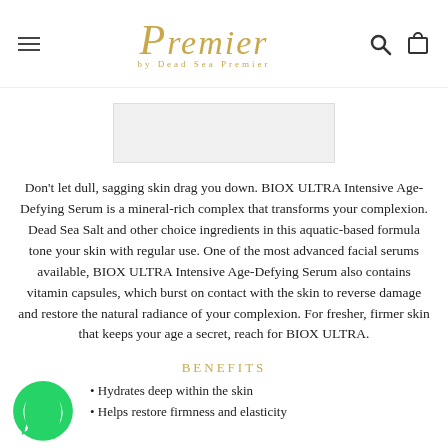Premier by Dead Sea Premier
[Figure (screenshot): Partial product image placeholder at top of page]
Don't let dull, sagging skin drag you down. BIOX ULTRA Intensive Age-Defying Serum is a mineral-rich complex that transforms your complexion. Dead Sea Salt and other choice ingredients in this aquatic-based formula tone your skin with regular use. One of the most advanced facial serums available, BIOX ULTRA Intensive Age-Defying Serum also contains vitamin capsules, which burst on contact with the skin to reverse damage and restore the natural radiance of your complexion. For fresher, firmer skin that keeps your age a secret, reach for BIOX ULTRA.
BENEFITS
Hydrates deep within the skin
Helps restore firmness and elasticity